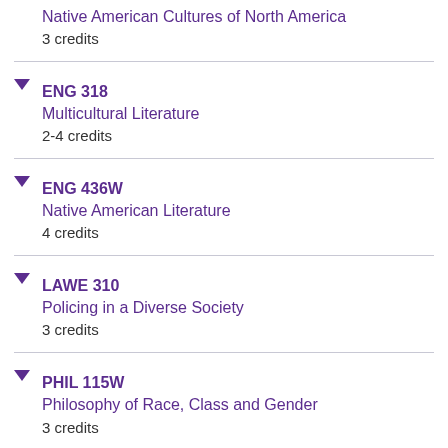Native American Cultures of North America
3 credits
ENG 318
Multicultural Literature
2-4 credits
ENG 436W
Native American Literature
4 credits
LAWE 310
Policing in a Diverse Society
3 credits
PHIL 115W
Philosophy of Race, Class and Gender
3 credits